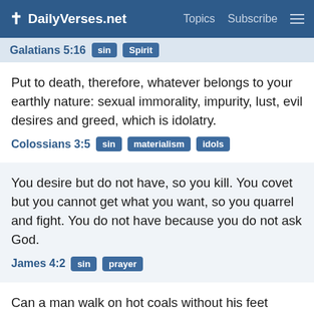✝ DailyVerses.net  Topics  Subscribe  ☰
Galatians 5:16  sin  Spirit
Put to death, therefore, whatever belongs to your earthly nature: sexual immorality, impurity, lust, evil desires and greed, which is idolatry.
Colossians 3:5  sin  materialism  idols
You desire but do not have, so you kill. You covet but you cannot get what you want, so you quarrel and fight. You do not have because you do not ask God.
James 4:2  sin  prayer
Can a man walk on hot coals without his feet being scorched?